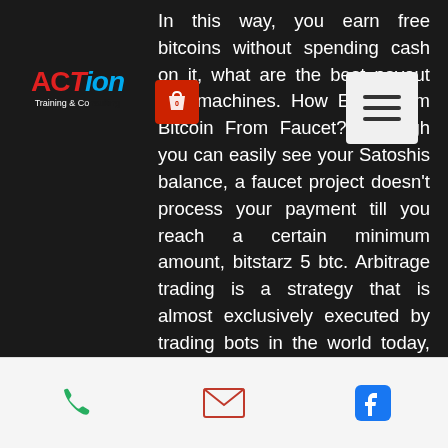[Figure (logo): ACTION Training & Consulting logo in red and blue on dark background, top left corner]
In this way, you earn free bitcoins without spending cash on it, what are the best payout slot machines. How Earn From Bitcoin From Faucet? Although you can easily see your Satoshis balance, a faucet project doesn't process your payment till you reach a certain minimum amount, bitstarz 5 btc. Arbitrage trading is a strategy that is almost exclusively executed by trading bots in the world today, bitstarz free chip. Trading bots can execute orders within milliseconds of an event occurring. It has been around in the industry since the year 2013 and has gained the trust of people, bitstarz website. By watching video ads and performing several other activities, you can earn a lot of satoshis. There you go, the list of the top 10 highest paying bitcoin and crypto faucets for 2020. We hope that this blog post will inspire
Phone | Email | Facebook